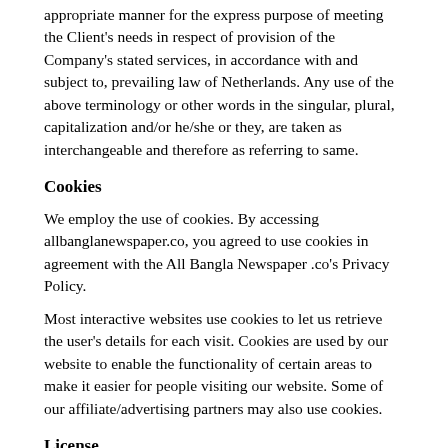appropriate manner for the express purpose of meeting the Client's needs in respect of provision of the Company's stated services, in accordance with and subject to, prevailing law of Netherlands. Any use of the above terminology or other words in the singular, plural, capitalization and/or he/she or they, are taken as interchangeable and therefore as referring to same.
Cookies
We employ the use of cookies. By accessing allbanglanewspaper.co, you agreed to use cookies in agreement with the All Bangla Newspaper .co's Privacy Policy.
Most interactive websites use cookies to let us retrieve the user's details for each visit. Cookies are used by our website to enable the functionality of certain areas to make it easier for people visiting our website. Some of our affiliate/advertising partners may also use cookies.
License
Unless otherwise stated, All Bangla Newspaper .Co and/or its licensors own the intellectual property rights for all material on allbanglanewspaper.co. All intellectual property rights are reserved. You may access this from allbanglanewspaper.co for